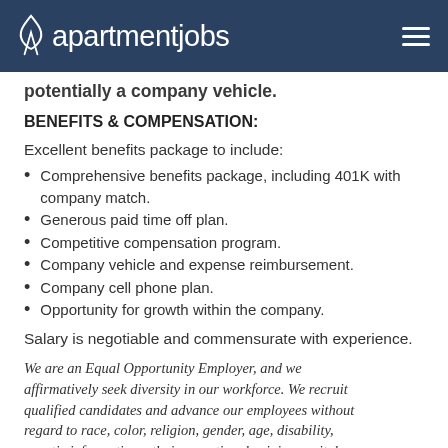apartmentjobs
potentially a company vehicle.
BENEFITS & COMPENSATION:
Excellent benefits package to include:
Comprehensive benefits package, including 401K with company match.
Generous paid time off plan.
Competitive compensation program.
Company vehicle and expense reimbursement.
Company cell phone plan.
Opportunity for growth within the company.
Salary is negotiable and commensurate with experience.
We are an Equal Opportunity Employer, and we affirmatively seek diversity in our workforce. We recruit qualified candidates and advance our employees without regard to race, color, religion, gender, age, disability, genetic information, ethnic or national origin, marital status, veteran status, or any